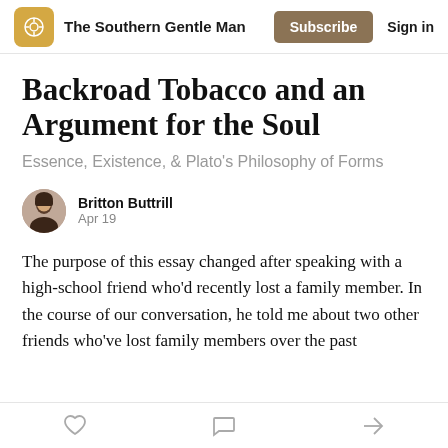The Southern Gentle Man | Subscribe | Sign in
Backroad Tobacco and an Argument for the Soul
Essence, Existence, & Plato's Philosophy of Forms
Britton Buttrill
Apr 19
The purpose of this essay changed after speaking with a high-school friend who'd recently lost a family member. In the course of our conversation, he told me about two other friends who've lost family members over the past